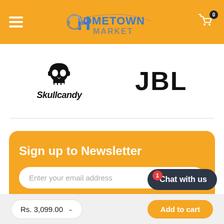Hometown Market – navigation header with hamburger menu, logo, and cart icon (0 items)
[Figure (logo): Skullcandy brand logo with skull icon and brand name text]
[Figure (logo): JBL brand logo in large bold black letters]
Sign up to Newsletter
Enter your email address
Submit
Chat with us
Rs. 3,099.00
Add to cart